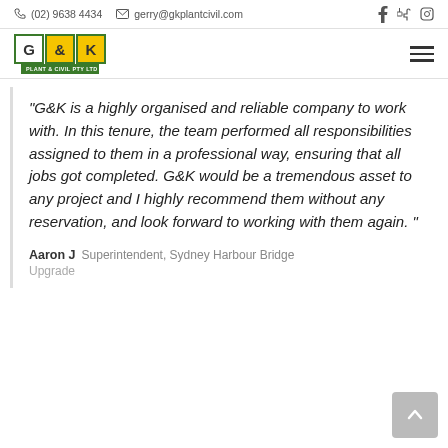(02) 9638 4434  gerry@gkplantcivil.com
[Figure (logo): G&K Plant & Civil Pty Ltd logo with green bordered boxes and yellow ampersand/K]
“G&K is a highly organised and reliable company to work with. In this tenure, the team performed all responsibilities assigned to them in a professional way, ensuring that all jobs got completed. G&K would be a tremendous asset to any project and I highly recommend them without any reservation, and look forward to working with them again. ”
Aaron J  Superintendent, Sydney Harbour Bridge Upgrade